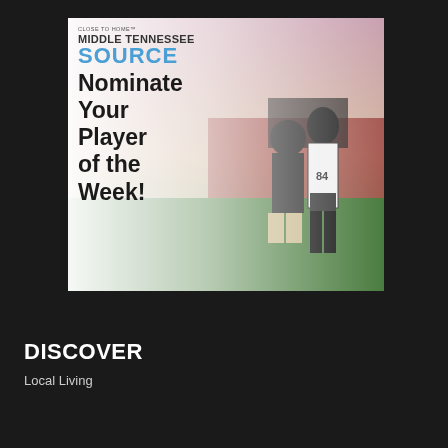[Figure (illustration): Advertisement image for Middle Tennessee Source. White/light left panel with text 'CLOSE TO HOME / MIDDLE TENNESSEE SOURCE / Nominate Your Player of the Week!' overlaid on a photo of a football coach and player wearing number 84, standing on a field at dusk.]
DISCOVER
Local Living